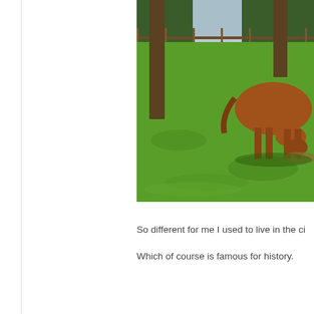[Figure (photo): A chestnut horse grazing in a green pasture, with wooden fence rails and trees in the background, and a body of water visible behind the fence.]
So different for me I used to live in the ci...
Which of course is famous for history.